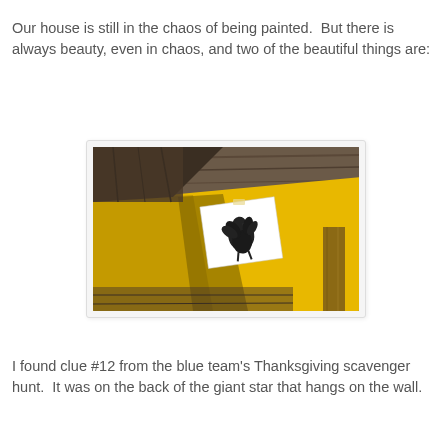Our house is still in the chaos of being painted.  But there is always beauty, even in chaos, and two of the beautiful things are:
[Figure (photo): Photo of a yellow painted wall/surface taken from below at an angle, with a white paper clue card showing a black turkey silhouette pinned or taped to it. The background shows wooden ceiling beams/rafters in a dark wood tone. A wooden post or pole is visible on the right side.]
I found clue #12 from the blue team's Thanksgiving scavenger hunt.  It was on the back of the giant star that hangs on the wall.